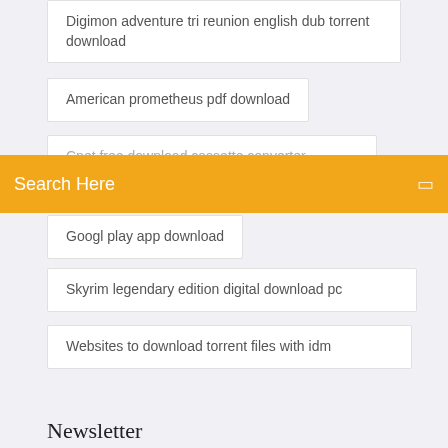Digimon adventure tri reunion english dub torrent download
American prometheus pdf download
Search Here
Cnet free download cassette converter
Googl play app download
Skyrim legendary edition digital download pc
Websites to download torrent files with idm
Newsletter